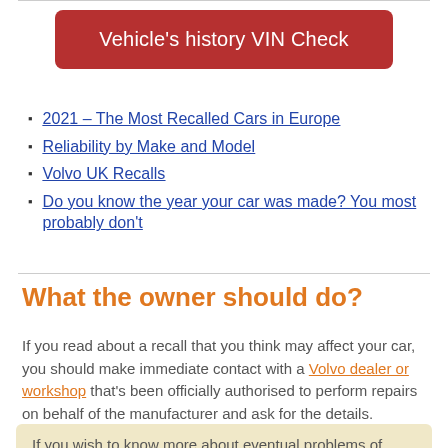[Figure (other): Red button with white text: Vehicle's history VIN Check]
2021 – The Most Recalled Cars in Europe
Reliability by Make and Model
Volvo UK Recalls
Do you know the year your car was made? You most probably don't
What the owner should do?
If you read about a recall that you think may affect your car, you should make immediate contact with a Volvo dealer or workshop that's been officially authorised to perform repairs on behalf of the manufacturer and ask for the details.
If you wish to know more about eventual problems of